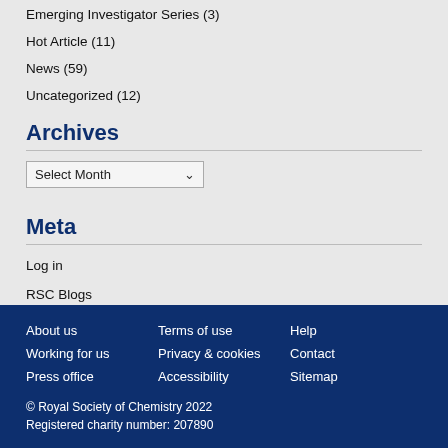Emerging Investigator Series (3)
Hot Article (11)
News (59)
Uncategorized (12)
Archives
Select Month
Meta
Log in
RSC Blogs
About us  Terms of use  Help  Working for us  Privacy & cookies  Contact  Press office  Accessibility  Sitemap  © Royal Society of Chemistry 2022  Registered charity number: 207890